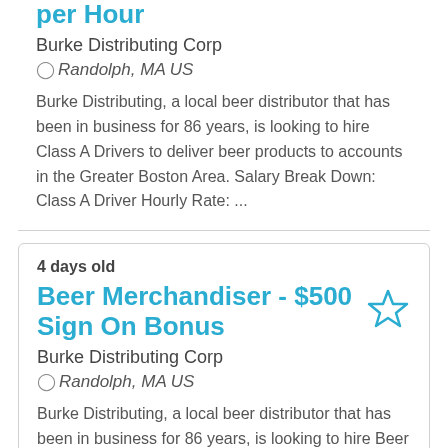per Hour
Burke Distributing Corp
Randolph, MA US
Burke Distributing, a local beer distributor that has been in business for 86 years, is looking to hire Class A Drivers to deliver beer products to accounts in the Greater Boston Area. Salary Break Down: Class A Driver Hourly Rate: ...
4 days old
Beer Merchandiser - $500 Sign On Bonus
Burke Distributing Corp
Randolph, MA US
Burke Distributing, a local beer distributor that has been in business for 86 years, is looking to hire Beer Merchandisers to execute all merchandising and activation programs at accounts by working closely with and in support of the sales management team. Salary and Benefits: $500 Sign on Bonu...